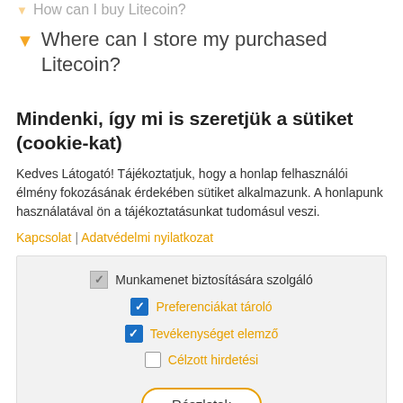How can I buy Litecoin?
Where can I store my purchased Litecoin?
Mindenki, így mi is szeretjük a sütiket (cookie-kat)
Kedves Látogató! Tájékoztatjuk, hogy a honlap felhasználói élmény fokozásának érdekében sütiket alkalmazunk. A honlapunk használatával ön a tájékoztatásunkat tudomásul veszi.
Kapcsolat | Adatvédelmi nyilatkozat
Munkamenet biztosítására szolgáló
Preferenciákat tároló
Tevékenységet elemző
Célzott hirdetési
Részletek
Elfogadom